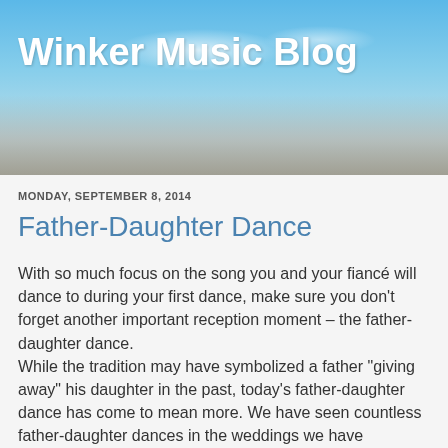[Figure (illustration): Blog header banner with blue sky, clouds, and a road/landscape in the lower portion]
Winker Music Blog
MONDAY, SEPTEMBER 8, 2014
Father-Daughter Dance
With so much focus on the song you and your fiancé will dance to during your first dance, make sure you don't forget another important reception moment – the father-daughter dance.
While the tradition may have symbolized a father “giving away” his daughter in the past, today's father-daughter dance has come to mean more.  We have seen countless father-daughter dances in the weddings we have performed at and one thing's for sure – the dance is simply a time for a father and his little girl to spend together.  We love that the pressure has been lifted and dads and their daughters can simply have a few moments together during such a hectic day.  They may spend it reminiscing about the ceremony